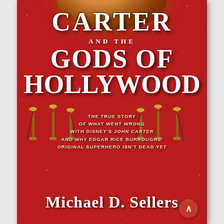[Figure (illustration): Book cover for 'Carter and the Gods of Hollywood' by Michael D. Sellers. Red background with stars, a partial planet/Mars at the top, decorative red-carpet stanchions and ropes in the middle, large white bold title text, gold subtitle text, and author name at bottom.]
CARTER AND THE GODS OF HOLLYWOOD
THE TRUE STORY OF WHAT WENT WRONG WITH DISNEY'S JOHN CARTER AND WHY EDGAR RICE BURROUGHS' ORIGINAL SUPERHERO ISN'T DEAD YET
MICHAEL D. SELLERS